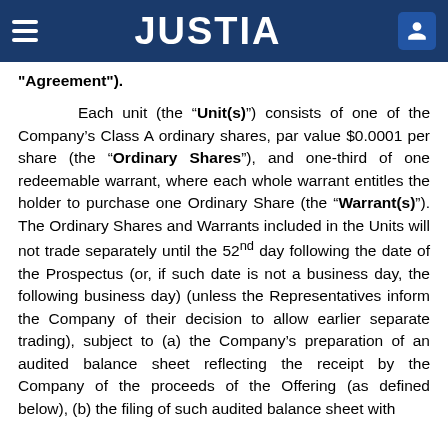JUSTIA
Agreement").
Each unit (the “Unit(s)”) consists of one of the Company’s Class A ordinary shares, par value $0.0001 per share (the “Ordinary Shares”), and one-third of one redeemable warrant, where each whole warrant entitles the holder to purchase one Ordinary Share (the “Warrant(s)”). The Ordinary Shares and Warrants included in the Units will not trade separately until the 52nd day following the date of the Prospectus (or, if such date is not a business day, the following business day) (unless the Representatives inform the Company of their decision to allow earlier separate trading), subject to (a) the Company’s preparation of an audited balance sheet reflecting the receipt by the Company of the proceeds of the Offering (as defined below), (b) the filing of such audited balance sheet with